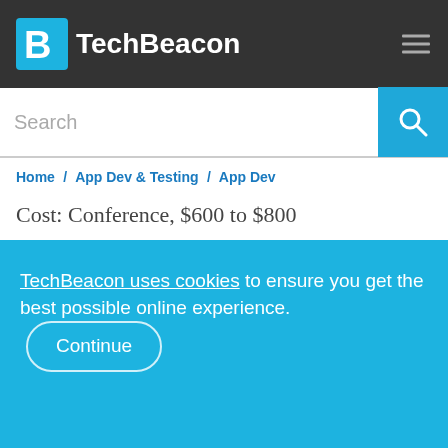TechBeacon
Search
Home / App Dev & Testing / App Dev
Cost: Conference, $600 to $800
Talks at Strange Loop, created in 2009 by a team of St. Louis-based friends and developers, are code-heavy and avoid process-oriented topics such as agile and testing. The organizers keep
TechBeacon uses cookies to ensure you get the best possible online experience. Continue